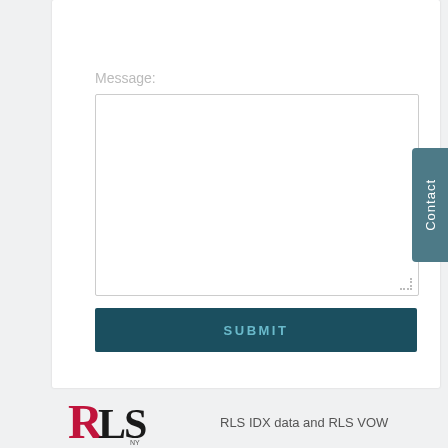[Figure (screenshot): Partially visible text input box at top of form]
Message:
[Figure (screenshot): Large textarea input box for message entry with resize handle]
[Figure (screenshot): SUBMIT button with dark teal background]
[Figure (screenshot): Contact tab on right side of page, rotated text reading 'Contact']
[Figure (logo): RLS company logo in red and black serif font]
RLS IDX data and RLS VOW